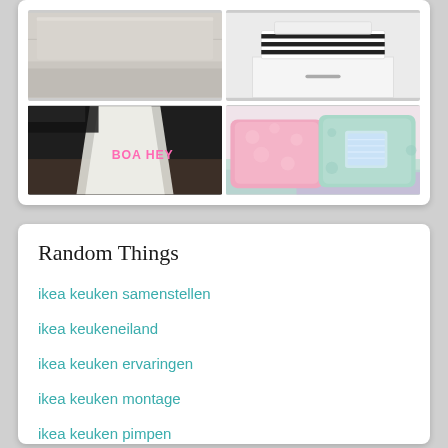[Figure (photo): 2x2 grid of bedroom/home decor photos: top-left shows a light grey bed/mattress closeup, top-right shows a white furniture piece with black and white striped cushions/pillows, bottom-left shows a plastic bag with pink text on a dark patterned surface, bottom-right shows colorful pastel pink/mint decorative cushions on a bed]
Random Things
ikea keuken samenstellen
ikea keukeneiland
ikea keuken ervaringen
ikea keuken montage
ikea keuken pimpen